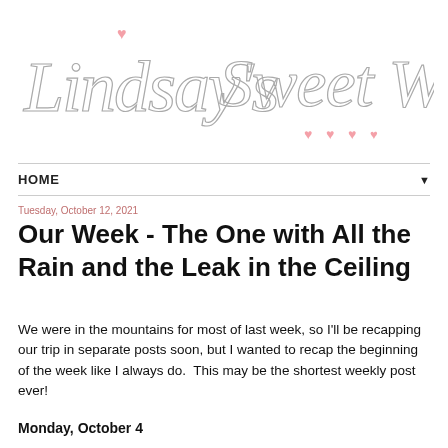[Figure (logo): Lindsay's Sweet World cursive handwritten logo with pink hearts]
HOME ▼
Tuesday, October 12, 2021
Our Week - The One with All the Rain and the Leak in the Ceiling
We were in the mountains for most of last week, so I'll be recapping our trip in separate posts soon, but I wanted to recap the beginning of the week like I always do.  This may be the shortest weekly post ever!
Monday, October 4